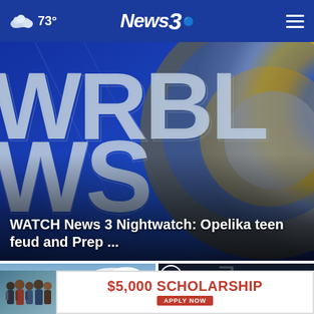73° News 3
[Figure (screenshot): WBRL News 3 station logo/broadcast graphic on blue background with large white letters WRBL and NEWS]
WATCH News 3 Nightwatch: Opelika teen feud and Prep ...
[Figure (photo): Stone columns of a classical building against blue sky]
[Figure (screenshot): Video thumbnail with play button for a news segment showing a tall building/tower]
[Figure (other): Advertisement: $5,000 SCHOLARSHIP - APPLY NOW, with group of students on left]